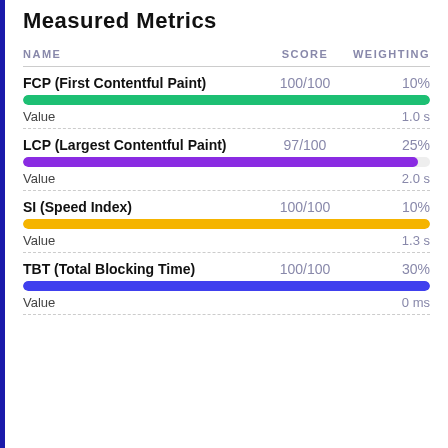Measured Metrics
| NAME | SCORE | WEIGHTING |
| --- | --- | --- |
| FCP (First Contentful Paint) | 100/100 | 10% |
| Value |  | 1.0 s |
| LCP (Largest Contentful Paint) | 97/100 | 25% |
| Value |  | 2.0 s |
| SI (Speed Index) | 100/100 | 10% |
| Value |  | 1.3 s |
| TBT (Total Blocking Time) | 100/100 | 30% |
| Value |  | 0 ms |